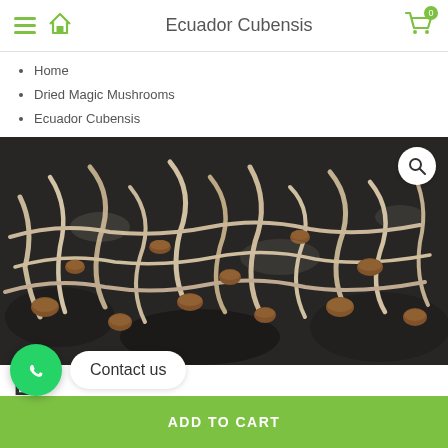Ecuador Cubensis
Home
Dried Magic Mushrooms
Ecuador Cubensis
[Figure (photo): Close-up photo of dried magic mushrooms (Ecuador Cubensis) — tan/beige dried stems with small brown caps scattered on a dark surface]
Ec...
Contact us
ADD TO CART